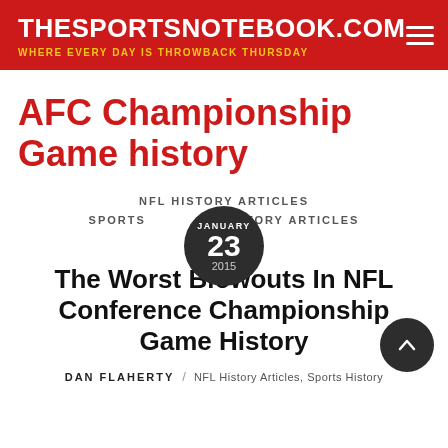THESPORTSNOTEBOOK.COM — WHERE EVERY DAY IS THROWBACK THURSDAY
AFC Championship Game history
NFL HISTORY ARTICLES
SPORTS HISTORY ARTICLES
JANUARY 23 2015
The Worst Blowouts In NFL Conference Championship Game History
DAN FLAHERTY / NFL History Articles, Sports History